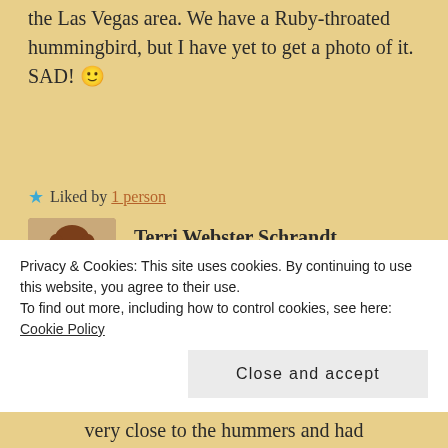the Las Vegas area. We have a Ruby-throated hummingbird, but I have yet to get a photo of it. SAD! 🙂
★ Liked by 1 person
[Figure (photo): Profile photo of Terri Webster Schrandt - a woman with reddish-brown curly hair and glasses]
Terri Webster Schrandt
JULY 2, 2021 AT 3:22 PM
Thanks, Lisa! I'd been planning a
Privacy & Cookies: This site uses cookies. By continuing to use this website, you agree to their use.
To find out more, including how to control cookies, see here: Cookie Policy
Close and accept
very close to the hummers and had